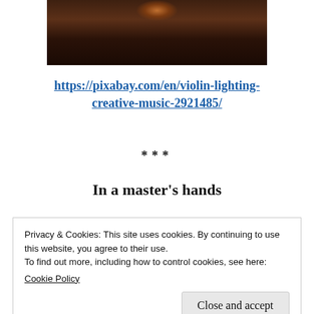[Figure (photo): Dark, moody photo of a violin with dramatic lighting, partially cropped at the top of the page]
https://pixabay.com/en/violin-lighting-creative-music-2921485/
***
In a master’s hands
A musical instrument
Privacy & Cookies: This site uses cookies. By continuing to use this website, you agree to their use.
To find out more, including how to control cookies, see here:
Cookie Policy
Close and accept